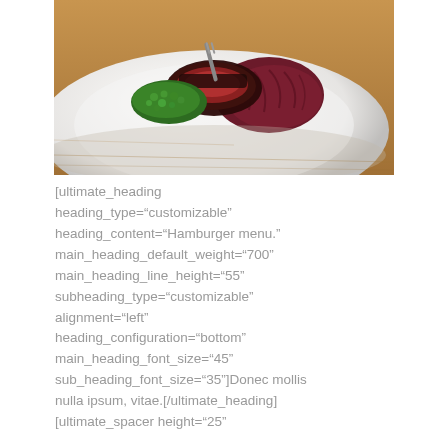[Figure (photo): Close-up photo of a gourmet dish on a white plate: sliced rare meat with green herb garnish and dark red pasta/vegetable accompaniment, on a wooden table background.]
[ultimate_heading heading_type="customizable" heading_content="Hamburger menu." main_heading_default_weight="700" main_heading_line_height="55" subheading_type="customizable" alignment="left" heading_configuration="bottom" main_heading_font_size="45" sub_heading_font_size="35"]Donec mollis nulla ipsum, vitae.[/ultimate_heading] [ultimate_spacer height="25"